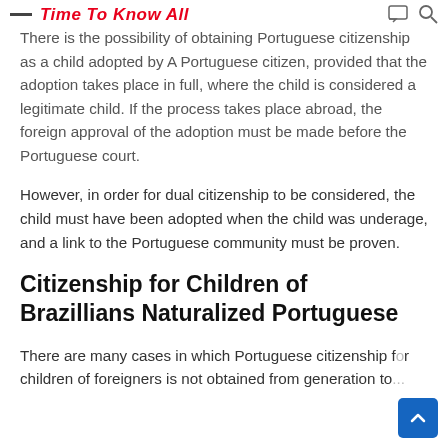Time To Know All
There is the possibility of obtaining Portuguese citizenship as a child adopted by A Portuguese citizen, provided that the adoption takes place in full, where the child is considered a legitimate child. If the process takes place abroad, the foreign approval of the adoption must be made before the Portuguese court.
However, in order for dual citizenship to be considered, the child must have been adopted when the child was underage, and a link to the Portuguese community must be proven.
Citizenship for Children of Brazillians Naturalized Portuguese
There are many cases in which Portuguese citizenship for children of foreigners is not obtained from generation to generation, but required through other conditions.